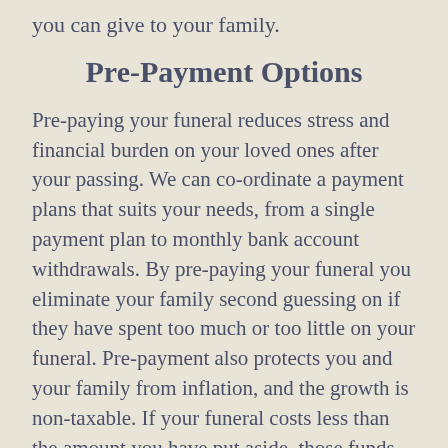you can give to your family.
Pre-Payment Options
Pre-paying your funeral reduces stress and financial burden on your loved ones after your passing.  We can co-ordinate a payment plans that suits your needs, from a single payment plan to monthly bank account withdrawals.  By pre-paying your funeral you eliminate your family second guessing on if they have spent too much or too little on your funeral.  Pre-payment also protects you and your family from inflation, and the growth is non-taxable. If your funeral costs less than the amount you have put aside, those funds will be refunded back to your beneficiaries. Each year thousands of people decide to pre-plan and pre-pay their funeral,